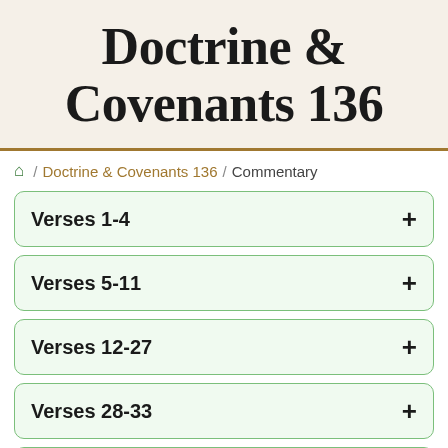Doctrine & Covenants 136
🏠 / Doctrine & Covenants 136 / Commentary
Verses 1-4 +
Verses 5-11 +
Verses 12-27 +
Verses 28-33 +
Verses 34-42 −